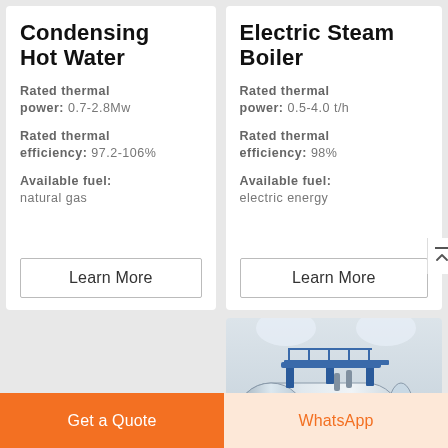Condensing Hot Water
Rated thermal power: 0.7-2.8Mw
Rated thermal efficiency: 97.2-106%
Available fuel: natural gas
Learn More
Electric Steam Boiler
Rated thermal power: 0.5-4.0 t/h
Rated thermal efficiency: 98%
Available fuel: electric energy
Learn More
[Figure (photo): Industrial boiler equipment — large cylindrical white boiler with blue structural elements and red logo, in industrial setting]
Get a Quote
WhatsApp